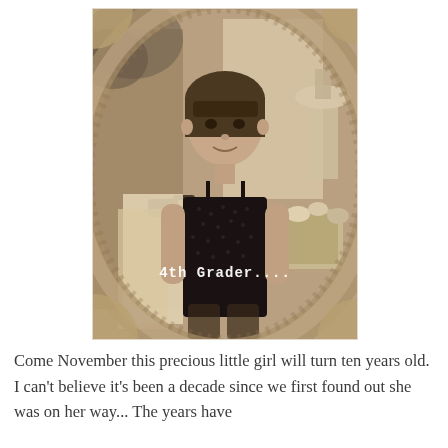[Figure (photo): Sepia-toned photo of a young girl standing and smiling, wearing a dark spaghetti-strap top with a small pattern. Background shows decorative items including a belt, lamp, and floral elements. Photo has a vignette/torn-edge effect. White overlay text reads '4th Grader....']
Come November this precious little girl will turn ten years old.  I can't believe it's been a decade since we first found out she was on her way...  The years have